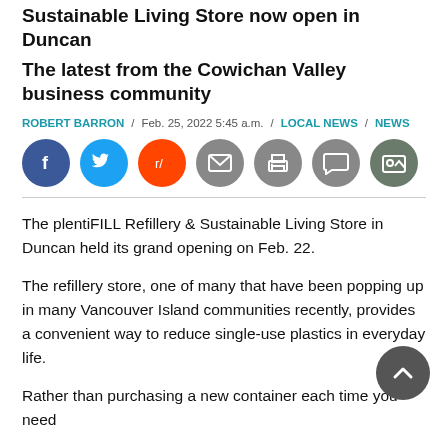Sustainable Living Store now open in Duncan
The latest from the Cowichan Valley business community
ROBERT BARRON / Feb. 25, 2022 5:45 a.m. / LOCAL NEWS / NEWS
[Figure (infographic): Social sharing icons: Facebook, Twitter, Reddit, Email, Print, Comment, Photo]
The plentiFILL Refillery & Sustainable Living Store in Duncan held its grand opening on Feb. 22.
The refillery store, one of many that have been popping up in many Vancouver Island communities recently, provides a convenient way to reduce single-use plastics in everyday life.
Rather than purchasing a new container each time you need